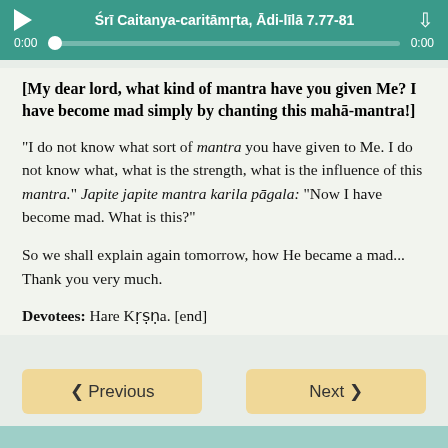Śrī Caitanya-caritāmṛta, Ādi-līlā 7.77-81
[My dear lord, what kind of mantra have you given Me? I have become mad simply by chanting this mahā-mantra!]
"I do not know what sort of mantra you have given to Me. I do not know what, what is the strength, what is the influence of this mantra." Japite japite mantra karila pāgala: "Now I have become mad. What is this?"
So we shall explain again tomorrow, how He became a mad... Thank you very much.
Devotees: Hare Kṛṣṇa. [end]
Previous   Next